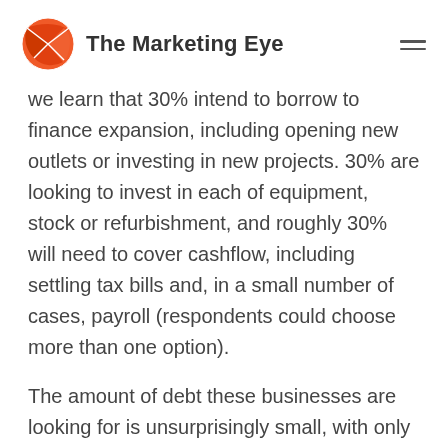The Marketing Eye
we learn that 30% intend to borrow to finance expansion, including opening new outlets or investing in new projects. 30% are looking to invest in each of equipment, stock or refurbishment, and roughly 30% will need to cover cashflow, including settling tax bills and, in a small number of cases, payroll (respondents could choose more than one option).
The amount of debt these businesses are looking for is unsurprisingly small, with only